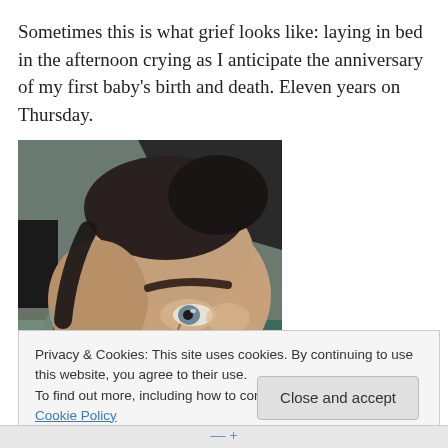Sometimes this is what grief looks like: laying in bed in the afternoon crying as I anticipate the anniversary of my first baby's birth and death. Eleven years on Thursday.
[Figure (photo): Close-up selfie photo of a person lying down, showing their face from the forehead to chin level, with dark short hair and one blue-grey eye visible, taken indoors with dark background elements]
Privacy & Cookies: This site uses cookies. By continuing to use this website, you agree to their use.
To find out more, including how to control cookies, see here: Cookie Policy
Close and accept